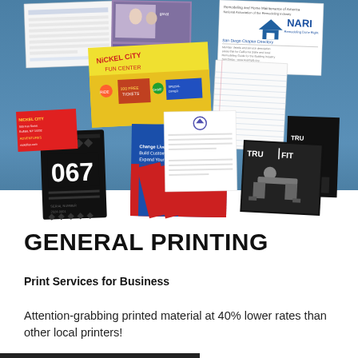[Figure (illustration): Collage of various printed materials including brochures, flyers, business cards, forms, folders, and promotional items such as NARI remodeling directory, Nickel City flyer, TruFit fitness card, numbered ticket 067, and various other print samples arranged on a city skyline background.]
GENERAL PRINTING
Print Services for Business
Attention-grabbing printed material at 40% lower rates than other local printers!